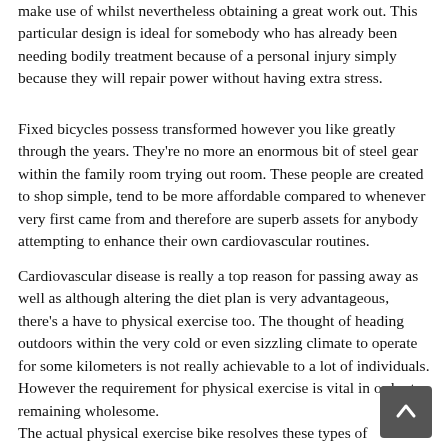make use of whilst nevertheless obtaining a great work out. This particular design is ideal for somebody who has already been needing bodily treatment because of a personal injury simply because they will repair power without having extra stress.
Fixed bicycles possess transformed however you like greatly through the years. They're no more an enormous bit of steel gear within the family room trying out room. These people are created to shop simple, tend to be more affordable compared to whenever very first came from and therefore are superb assets for anybody attempting to enhance their own cardiovascular routines.
Cardiovascular disease is really a top reason for passing away as well as although altering the diet plan is very advantageous, there's a have to physical exercise too. The thought of heading outdoors within the very cold or even sizzling climate to operate for some kilometers is not really achievable to a lot of individuals. However the requirement for physical exercise is vital in order to remaining wholesome.
The actual physical exercise bike resolves these types of